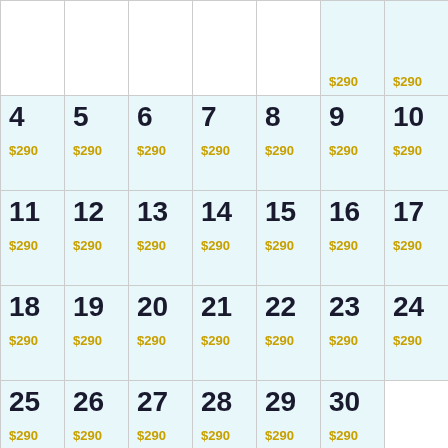|  |  |  |  |  | $290 | $290 |
| 4
$290 | 5
$290 | 6
$290 | 7
$290 | 8
$290 | 9
$290 | 10
$290 |
| 11
$290 | 12
$290 | 13
$290 | 14
$290 | 15
$290 | 16
$290 | 17
$290 |
| 18
$290 | 19
$290 | 20
$290 | 21
$290 | 22
$290 | 23
$290 | 24
$290 |
| 25
$290 | 26
$290 | 27
$290 | 28
$290 | 29
$290 | 30
$290 |  |